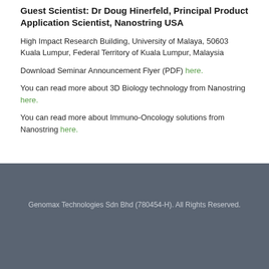Guest Scientist: Dr Doug Hinerfeld, Principal Product Application Scientist, Nanostring USA
High Impact Research Building, University of Malaya, 50603 Kuala Lumpur, Federal Territory of Kuala Lumpur, Malaysia
Download Seminar Announcement Flyer (PDF) here.
You can read more about 3D Biology technology from Nanostring here.
You can read more about Immuno-Oncology solutions from Nanostring here.
Genomax Technologies Sdn Bhd (780454-H). All Rights Reserved.